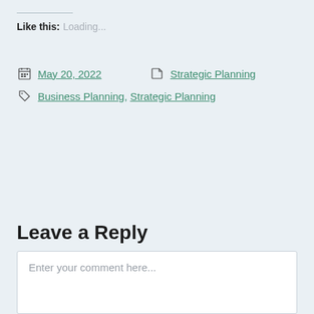Like this:
Loading...
May 20, 2022   Strategic Planning
Business Planning, Strategic Planning
Leave a Reply
Enter your comment here...